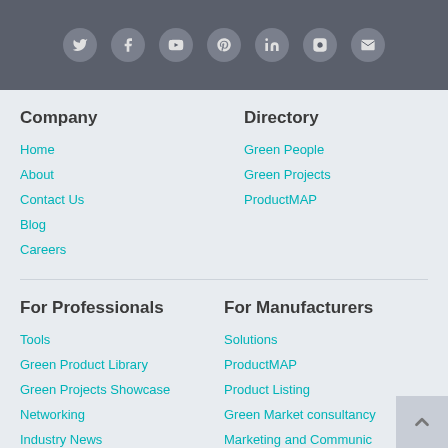[Figure (other): Dark gray header bar with 7 social media icons (Twitter, Facebook, YouTube, Pinterest, LinkedIn, Instagram, Email) as circular buttons]
Company
Home
About
Contact Us
Blog
Careers
Directory
Green People
Green Projects
ProductMAP
For Professionals
Tools
Green Product Library
Green Projects Showcase
Networking
Industry News
For Manufacturers
Solutions
ProductMAP
Product Listing
Green Market consultancy
Marketing and Communications
FAQs